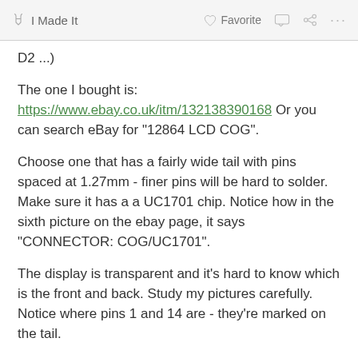I Made It   Favorite   ...
D2 ...)
The one I bought is:
https://www.ebay.co.uk/itm/132138390168 Or you can search eBay for "12864 LCD COG".
Choose one that has a fairly wide tail with pins spaced at 1.27mm - finer pins will be hard to solder. Make sure it has a a UC1701 chip. Notice how in the sixth picture on the ebay page, it says "CONNECTOR: COG/UC1701".
The display is transparent and it's hard to know which is the front and back. Study my pictures carefully. Notice where pins 1 and 14 are - they're marked on the tail.